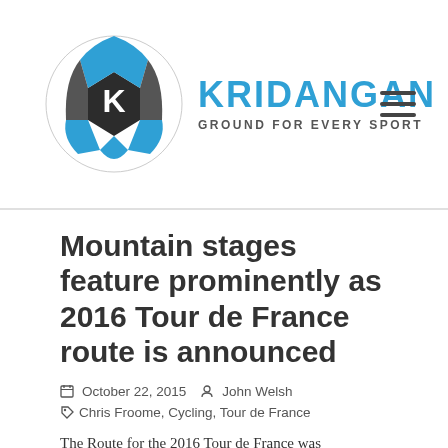KRIDANGAN — GROUND FOR EVERY SPORT
Mountain stages feature prominently as 2016 Tour de France route is announced
October 22, 2015   John Welsh
Chris Froome, Cycling, Tour de France
The Route for the 2016 Tour de France was announced this week and the Alps will again